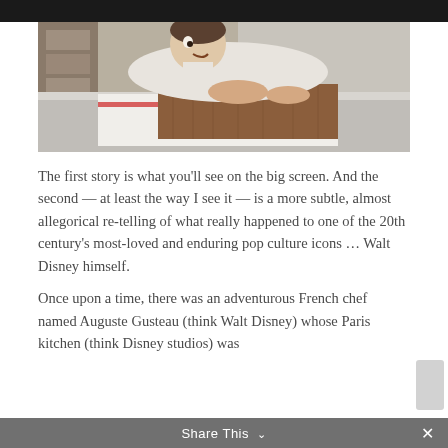[Figure (photo): Animation still from Ratatouille (Pixar/Disney) showing a chef character leaning over a wooden cutting board on a stainless steel kitchen counter.]
The first story is what you'll see on the big screen. And the second — at least the way I see it — is a more subtle, almost allegorical re-telling of what really happened to one of the 20th century's most-loved and enduring pop culture icons … Walt Disney himself.
Once upon a time, there was an adventurous French chef named Auguste Gusteau (think Walt Disney) whose Paris kitchen (think Disney studios) was…
Share This ∨  ×